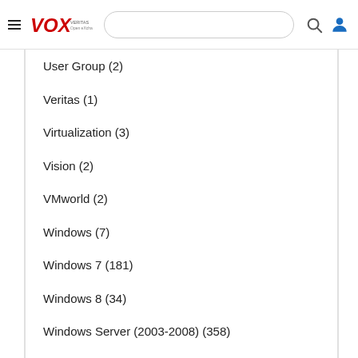VOX VERITAS Open eXchange
User Group (2)
Veritas (1)
Virtualization (3)
Vision (2)
VMworld (2)
Windows (7)
Windows 7 (181)
Windows 8 (34)
Windows Server (2003-2008) (358)